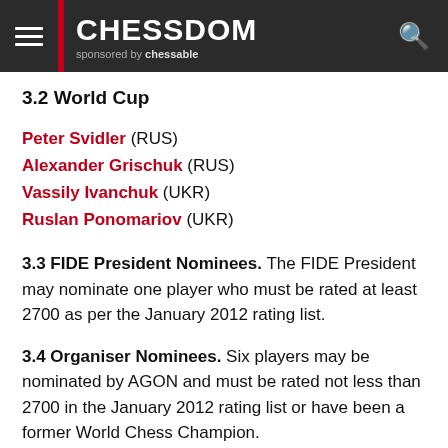CHESSDOM sponsored by chessable
3.2 World Cup
Peter Svidler (RUS)
Alexander Grischuk (RUS)
Vassily Ivanchuk (UKR)
Ruslan Ponomariov (UKR)
3.3 FIDE President Nominees. The FIDE President may nominate one player who must be rated at least 2700 as per the January 2012 rating list.
3.4 Organiser Nominees. Six players may be nominated by AGON and must be rated not less than 2700 in the January 2012 rating list or have been a former World Chess Champion.